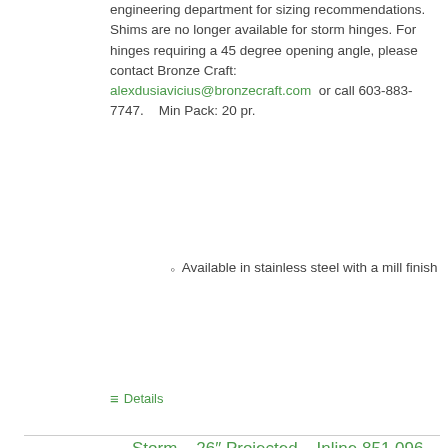engineering department for sizing recommendations. Shims are no longer available for storm hinges. For hinges requiring a 45 degree opening angle, please contact Bronze Craft: alexdusiavicius@bronzecraft.com  or call 603-883-7747.   Min Pack: 20 pr.
Available in stainless steel with a mill finish
Details
[Figure (photo): Photo of a Storm 26 inch Projected Inline hinge hardware piece, metallic, triangular arm mechanism]
Storm – 26″ Projected – Inline 851 096 8046